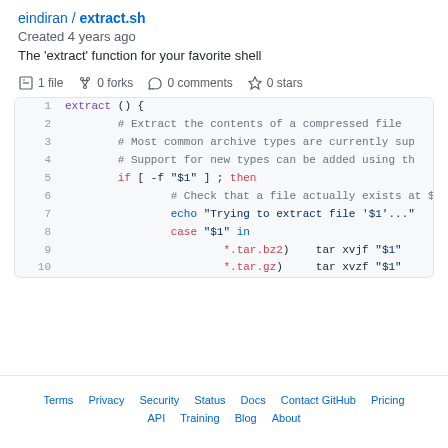eindiran / extract.sh
Created 4 years ago
The 'extract' function for your favorite shell
1 file   0 forks   0 comments   0 stars
[Figure (screenshot): Code block showing shell script extract.sh, lines 1-10, with syntax highlighting on a GitHub Gist page]
Terms   Privacy   Security   Status   Docs   Contact GitHub   Pricing   API   Training   Blog   About